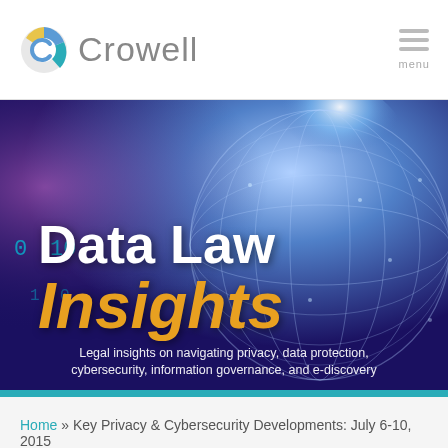Crowell
[Figure (illustration): Data Law Insights banner image with glowing digital globe/network on a blue-purple background with the text 'Data Law Insights' and subtitle 'Legal insights on navigating privacy, data protection, cybersecurity, information governance, and e-discovery']
Home » Key Privacy & Cybersecurity Developments: July 6-10, 2015